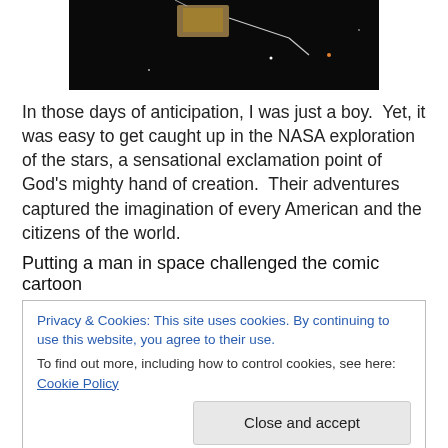[Figure (photo): Dark background photo showing a spacecraft or electronic device with wires against a black space-like background with small light dots]
In those days of anticipation, I was just a boy.  Yet, it was easy to get caught up in the NASA exploration of the stars, a sensational exclamation point of God's mighty hand of creation.  Their adventures captured the imagination of every American and the citizens of the world.
Putting a man in space challenged the comic cartoon
Privacy & Cookies: This site uses cookies. By continuing to use this website, you agree to their use.
To find out more, including how to control cookies, see here: Cookie Policy
NASA's space center